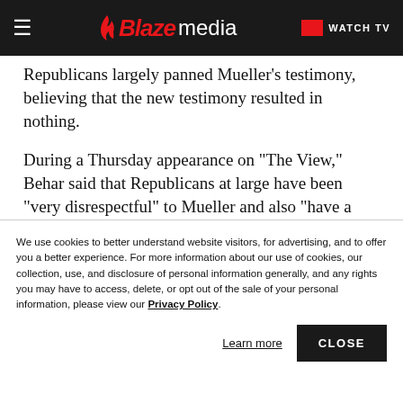Blaze media — WATCH TV
Republicans largely panned Mueller's testimony, believing that the new testimony resulted in nothing.
During a Thursday appearance on "The View," Behar said that Republicans at large have been "very disrespectful" to Mueller and also "have a tendency to be disrespectful to [U.S.] veterans" as well.
We use cookies to better understand website visitors, for advertising, and to offer you a better experience. For more information about our use of cookies, our collection, use, and disclosure of personal information generally, and any rights you may have to access, delete, or opt out of the sale of your personal information, please view our Privacy Policy.
Learn more
CLOSE